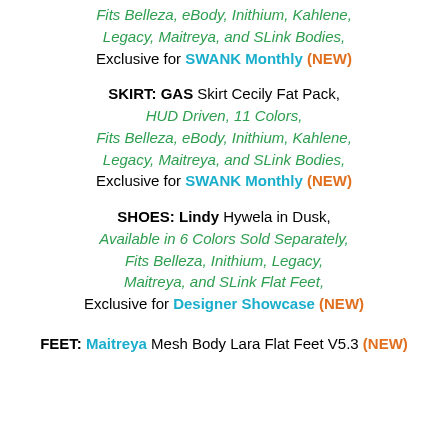Fits Belleza, eBody, Inithium, Kahlene, Legacy, Maitreya, and SLink Bodies, Exclusive for SWANK Monthly (NEW)
SKIRT: GAS Skirt Cecily Fat Pack, HUD Driven, 11 Colors, Fits Belleza, eBody, Inithium, Kahlene, Legacy, Maitreya, and SLink Bodies, Exclusive for SWANK Monthly (NEW)
SHOES: Lindy Hywela in Dusk, Available in 6 Colors Sold Separately, Fits Belleza, Inithium, Legacy, Maitreya, and SLink Flat Feet, Exclusive for Designer Showcase (NEW)
FEET: Maitreya Mesh Body Lara Flat Feet V5.3 (NEW)